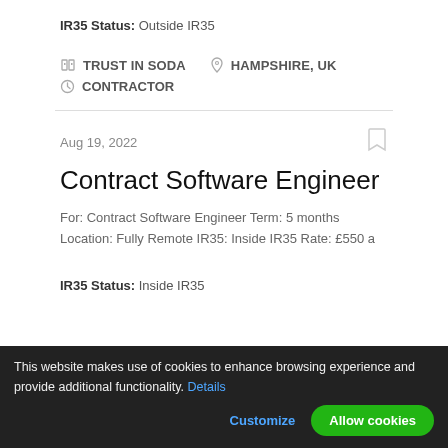IR35 Status: Outside IR35
TRUST IN SODA   HAMPSHIRE, UK   CONTRACTOR
Aug 19, 2022
Contract Software Engineer
For: Contract Software Engineer Term: 5 months
Location: Fully Remote IR35: Inside IR35 Rate: £550 a
IR35 Status: Inside IR35
This website makes use of cookies to enhance browsing experience and provide additional functionality. Details
Customize   Allow cookies